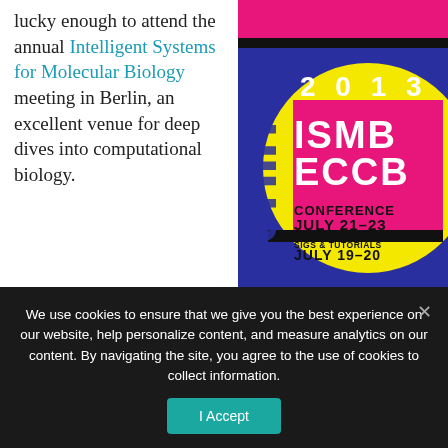lucky enough to attend the annual Intelligent Systems for Molecular Biology meeting in Berlin, an excellent venue for deep dives into computational biology.
[Figure (illustration): 2013 ISMB ECCB Conference poster. Blue background with yellow circle. Text: 2013 ISMB ECCB. Conference July 21-23. SIGS & Tutorials July 19-20. 'berlin' text vertically on left side. Pink and black rectangular elements at top.]
Many of the great talks at this event were held within the SIG (Special Interest Group) meetings on topics as diverse as network biology, SNPs, structural bioinformatics, and integrative RNA
We use cookies to ensure that we give you the best experience on our website, help personalize content, and measure analytics on our content. By navigating the site, you agree to the use of cookies to collect information.